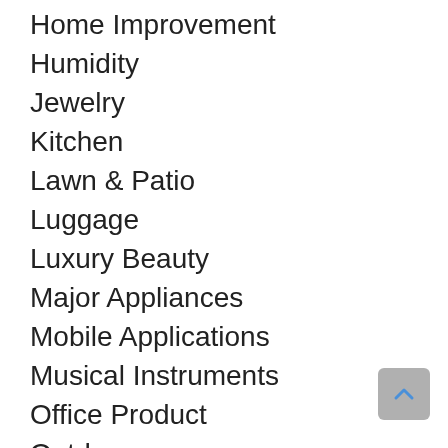Home Improvement
Humidity
Jewelry
Kitchen
Lawn & Patio
Luggage
Luxury Beauty
Major Appliances
Mobile Applications
Musical Instruments
Office Product
Outdoors
Pantry
Personal Care Appliances
Personal Computer